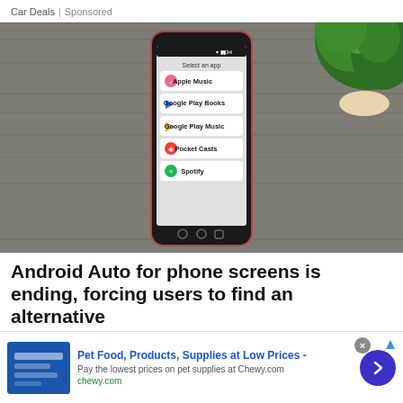Car Deals | Sponsored
[Figure (photo): Smartphone displaying 'Select an app' screen with app list: Apple Music, Google Play Books, Google Play Music, Pocket Casts, Spotify. Phone resting on grey textured surface with green plant in background.]
Android Auto for phone screens is ending, forcing users to find an alternative
Android Auto for phone screens is ending...
[Figure (infographic): Advertisement banner for Chewy.com: Pet Food, Products, Supplies at Low Prices - Pay the lowest prices on pet supplies at Chewy.com. chewy.com]
Pet Food, Products, Supplies at Low Prices - Pay the lowest prices on pet supplies at Chewy.com. chewy.com